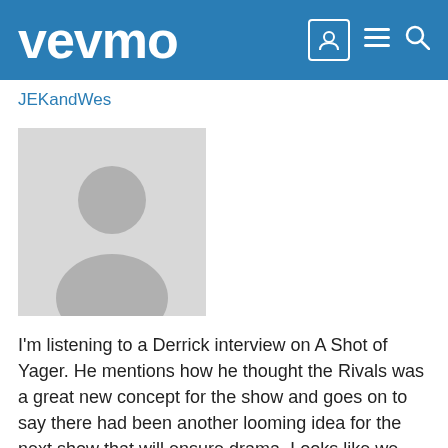vevmo
JEKandWes
[Figure (illustration): Default user avatar placeholder image — gray silhouette of a person on a light gray background]
I'm listening to a Derrick interview on A Shot of Yager. He mentions how he thought the Rivals was a great new concept for the show and goes on to say there had been another looming idea for the next show that will ensure drama. Looks like we might possibly see another new format on the next challenge. Here's the interview: [url=http://www.thecampussocialite.com/a-shot-of-yager-podcast-w-returning-guest-mtvs-derrick-kosinski/]A Shot of Yager: Podcast w/ Returning Guest MTV's Derrick Kosinski | The Campus Socialite - Campus Lifestyle for College Students by College Students[/url]